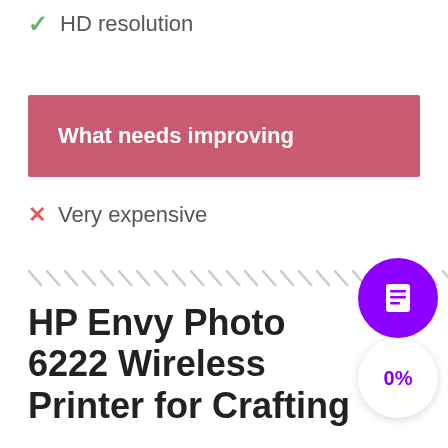✓ HD resolution
What needs improving
✗ Very expensive
HP Envy Photo 6222 Wireless Printer for Crafting
[Figure (other): Purple circle button with document/list icon]
0%